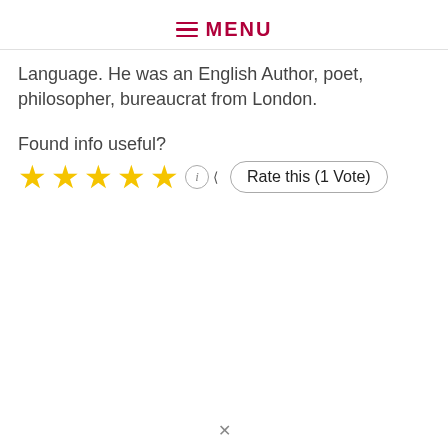MENU
Language. He was an English Author, poet, philosopher, bureaucrat from London.
Found info useful?
[Figure (other): Five gold star rating icons followed by an info icon and a 'Rate this (1 Vote)' button with a left-pointing arrow indicator]
×